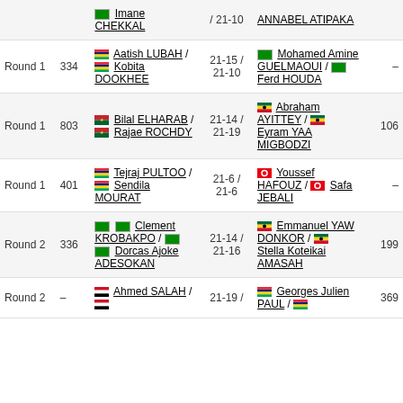| Round | # | Player 1 | Score | Player 2 | Pts |
| --- | --- | --- | --- | --- | --- |
| Round 1 | 334 | Aatish LUBAH / Kobita DOOKHEE (MU) | 21-15 / 21-10 | Mohamed Amine GUELMAOUI / Ferd HOUDA (MA) | - |
| Round 1 | 803 | Bilal ELHARAB / Rajae ROCHDY (MA) | 21-14 / 21-19 | Abraham AYITTEY / Eyram YAA MIGBODZI (GH) | 106 |
| Round 1 | 401 | Tejraj PULTOO / Sendila MOURAT (MU) | 21-6 / 21-6 | Youssef HAFOUZ / Safa JEBALI (TN) | - |
| Round 2 | 336 | Clement KROBAKPO / Dorcas Ajoke ADESOKAN (NG) | 21-14 / 21-16 | Emmanuel YAW DONKOR / Stella Koteikai AMASAH (GH) | 199 |
| Round 2 | - | Ahmed SALAH (EG) | 21-19 / | Georges Julien PAUL (MU) | 369 |